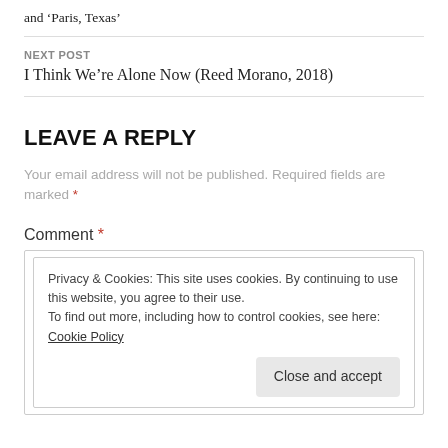and ‘Paris, Texas’
NEXT POST
I Think We’re Alone Now (Reed Morano, 2018)
LEAVE A REPLY
Your email address will not be published. Required fields are marked *
Comment *
Privacy & Cookies: This site uses cookies. By continuing to use this website, you agree to their use.
To find out more, including how to control cookies, see here: Cookie Policy
Close and accept